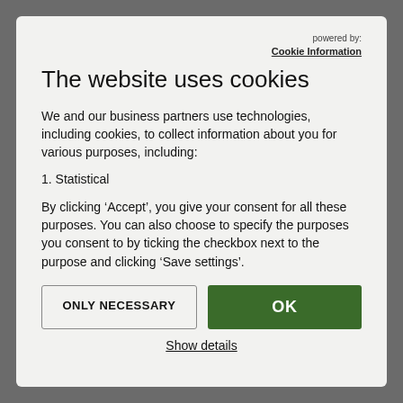powered by: Cookie Information
The website uses cookies
We and our business partners use technologies, including cookies, to collect information about you for various purposes, including:
1. Statistical
By clicking ‘Accept’, you give your consent for all these purposes. You can also choose to specify the purposes you consent to by ticking the checkbox next to the purpose and clicking ‘Save settings’.
ONLY NECESSARY
OK
Show details